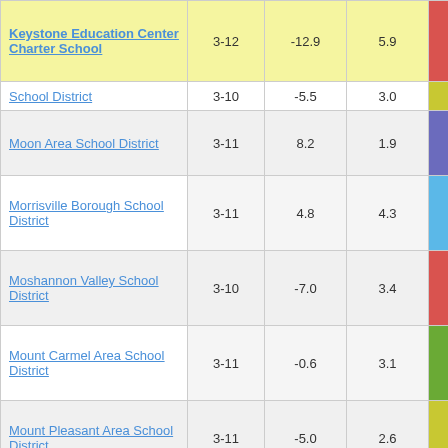| School/District | Grades | Col3 | Col4 | Score |
| --- | --- | --- | --- | --- |
| Keystone Education Center Charter School | 3-12 | -12.9 | 5.9 | -2.19 |
| School District | 3-10 | -5.5 | 3.0 | -1.82 |
| Moon Area School District | 3-11 | 8.2 | 1.9 | 4.25 |
| Morrisville Borough School District | 3-11 | 4.8 | 4.3 | 1.10 |
| Moshannon Valley School District | 3-10 | -7.0 | 3.4 | -2.01 |
| Mount Carmel Area School District | 3-11 | -0.6 | 3.1 | -0.18 |
| Mount Pleasant Area School District | 3-11 | -5.0 | 2.6 | -1.93 |